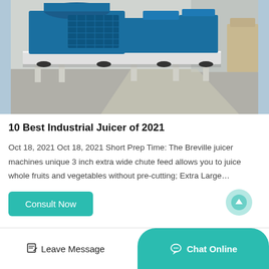[Figure (photo): Industrial blue machine (large industrial juicer/processing equipment) on a factory floor with grey concrete ground and industrial building interior background.]
10 Best Industrial Juicer of 2021
Oct 18, 2021 Oct 18, 2021 Short Prep Time: The Breville juicer machines unique 3 inch extra wide chute feed allows you to juice whole fruits and vegetables without pre-cutting; Extra Large…
Consult Now
Leave Message   Chat Online